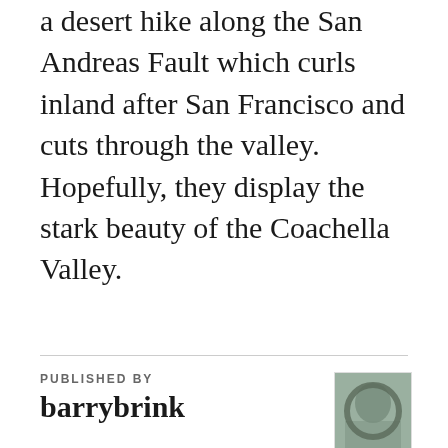a desert hike along the San Andreas Fault which curls inland after San Francisco and cuts through the valley. Hopefully, they display the stark beauty of the Coachella Valley.
PUBLISHED BY
barrybrink
[Figure (photo): Small thumbnail photo of a person viewed through a circular stone arch]
Grew up in California...Went east for college and, later, work, and never returned to California as a resident...Have a Ph.D. in Clinical Psychology...Worked in private practice settings for most of my